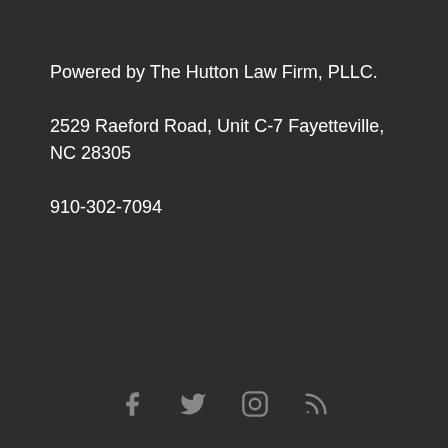Powered by The Hutton Law Firm, PLLC.
2529 Raeford Road, Unit C-7 Fayetteville, NC 28305
910-302-7094
[Figure (infographic): Social media icons: Facebook, Twitter, Instagram, RSS feed]